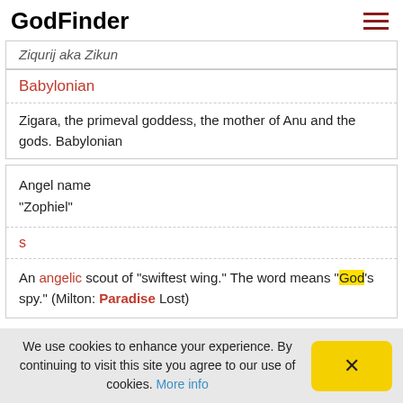GodFinder
Ziqurij aka Zikun
Babylonian
Zigara, the primeval goddess, the mother of Anu and the gods. Babylonian
Angel name "Zophiel"
s
An angelic scout of "swiftest wing." The word means "God's spy." (Milton: Paradise Lost)
We use cookies to enhance your experience. By continuing to visit this site you agree to our use of cookies. More info